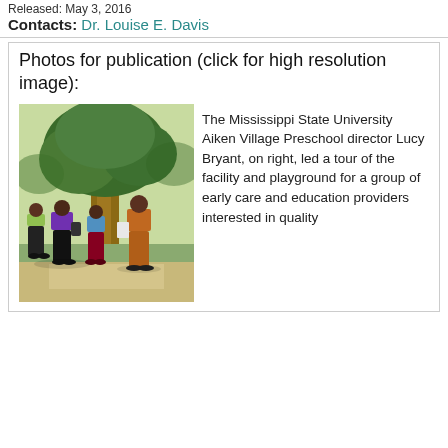Released: May 3, 2016
Contacts: Dr. Louise E. Davis
Photos for publication (click for high resolution image):
[Figure (photo): Group of people standing outdoors near a large tree on a paved path. A woman in orange/brown attire on the right appears to be leading a tour; others in purple, green, and maroon clothing listen.]
The Mississippi State University Aiken Village Preschool director Lucy Bryant, on right, led a tour of the facility and playground for a group of early care and education providers interested in quality